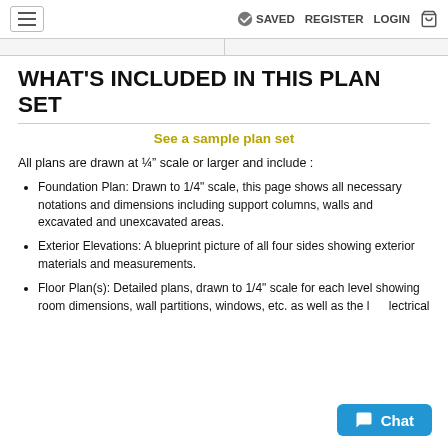≡  ✓ SAVED  REGISTER  LOGIN  🛒
WHAT'S INCLUDED IN THIS PLAN SET
See a sample plan set
All plans are drawn at ¼" scale or larger and include :
Foundation Plan: Drawn to 1/4" scale, this page shows all necessary notations and dimensions including support columns, walls and excavated and unexcavated areas.
Exterior Elevations: A blueprint picture of all four sides showing exterior materials and measurements.
Floor Plan(s): Detailed plans, drawn to 1/4" scale for each level showing room dimensions, wall partitions, windows, etc. as well as the l... lectrical